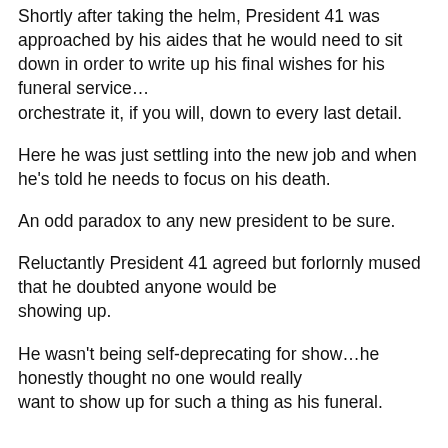Shortly after taking the helm, President 41 was approached by his aides that he would need to sit down in order to write up his final wishes for his funeral service… orchestrate it, if you will, down to every last detail.
Here he was just settling into the new job and when he's told he needs to focus on his death.
An odd paradox to any new president to be sure.
Reluctantly President 41 agreed but forlornly mused that he doubted anyone would be showing up.
He wasn't being self-deprecating for show…he honestly thought no one would really want to show up for such a thing as his funeral.